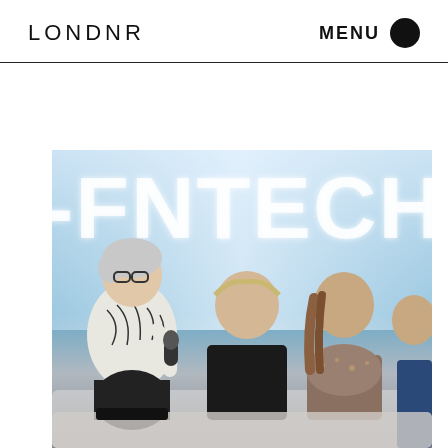LONDNR   MENU
[Figure (photo): Panel discussion photo showing four people seated at what appears to be a fintech event. A woman with short grey hair and glasses wearing a white patterned top speaks into a microphone. Three other panelists sit beside her. In the background, large illuminated letters spell out 'FNTECHWE' (part of a longer word, likely FINTECHWEEK). The setting is a bright, light-blue lit stage or conference area.]